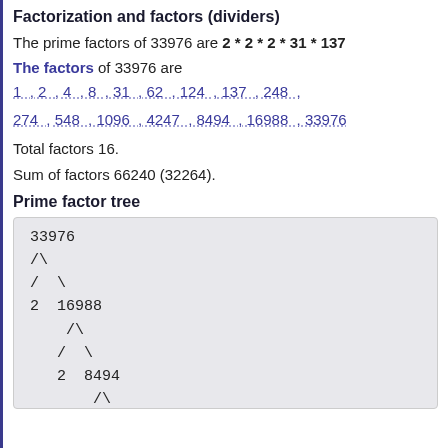Factorization and factors (dividers)
The prime factors of 33976 are 2 * 2 * 2 * 31 * 137
The factors of 33976 are
1 , 2 , 4 , 8 , 31 , 62 , 124 , 137 , 248 ,
274 , 548 , 1096 , 4247 , 8494 , 16988 , 33976
Total factors 16.
Sum of factors 66240 (32264).
Prime factor tree
[Figure (other): Prime factor tree for 33976 showing: 33976 splits into 2 and 16988; 16988 splits into 2 and 8494; 8494 splits into 2 and 4247]